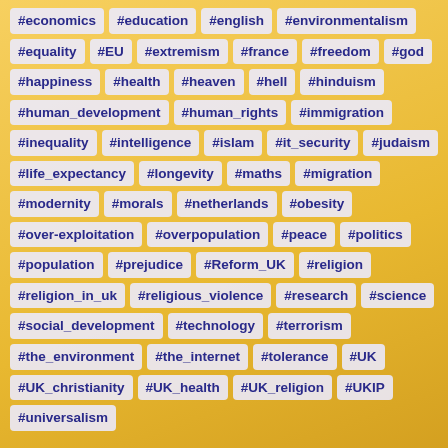#economics
#education
#english
#environmentalism
#equality
#EU
#extremism
#france
#freedom
#god
#happiness
#health
#heaven
#hell
#hinduism
#human_development
#human_rights
#immigration
#inequality
#intelligence
#islam
#it_security
#judaism
#life_expectancy
#longevity
#maths
#migration
#modernity
#morals
#netherlands
#obesity
#over-exploitation
#overpopulation
#peace
#politics
#population
#prejudice
#Reform_UK
#religion
#religion_in_uk
#religious_violence
#research
#science
#social_development
#technology
#terrorism
#the_environment
#the_internet
#tolerance
#UK
#UK_christianity
#UK_health
#UK_religion
#UKIP
#universalism